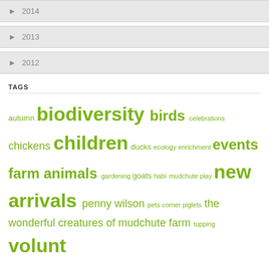► 2014
► 2013
► 2012
TAGS
autumn biodiversity birds celebrations chickens children ducks ecology enrichment events farm animals gardening goats habitats mudchute play new arrivals penny wilson pets corner piglets the wonderful creatures of mudchute farm tupping volunt
TWITTER: MUDCHUTE
No Tweets Available
Follow @mudchute  4,262 followers
INSTAGRAM: MUDCHUTE_FARM